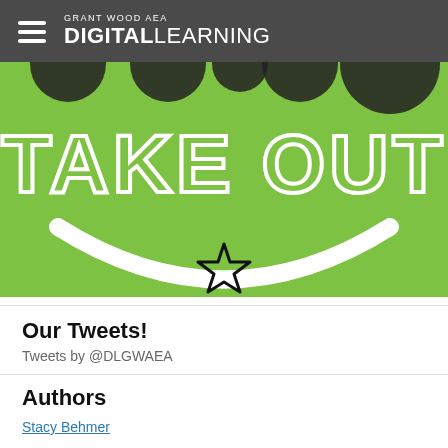GRANT WOOD AEA DIGITAL LEARNING
[Figure (illustration): Green background banner with large white outlined text reading 'TAKE OUT' and a smiley face curve with a star below, partial top row of circular icons visible at top]
Our Tweets!
Tweets by @DLGWAEA
Authors
Stacy Behmer